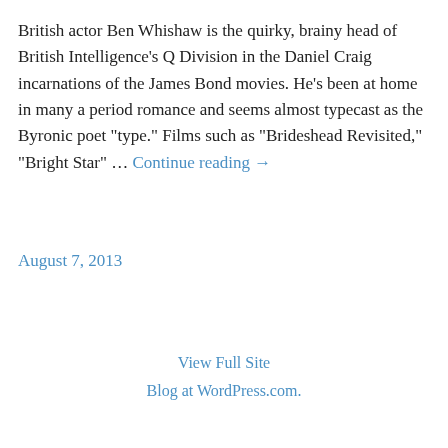British actor Ben Whishaw is the quirky, brainy head of British Intelligence's Q Division in the Daniel Craig incarnations of the James Bond movies. He's been at home in many a period romance and seems almost typecast as the Byronic poet "type." Films such as "Brideshead Revisited," "Bright Star" … Continue reading →
August 7, 2013
View Full Site
Blog at WordPress.com.